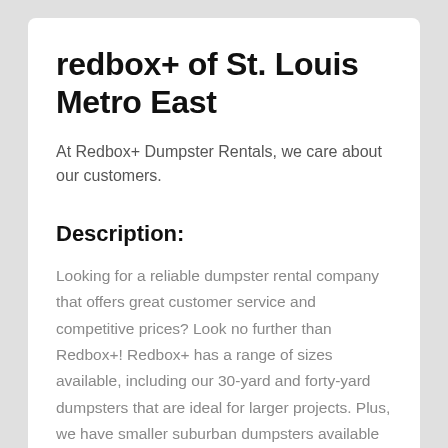redbox+ of St. Louis Metro East
At Redbox+ Dumpster Rentals, we care about our customers.
Description:
Looking for a reliable dumpster rental company that offers great customer service and competitive prices? Look no further than Redbox+! Redbox+ has a range of sizes available, including our 30-yard and forty-yard dumpsters that are ideal for larger projects. Plus, we have smaller suburban dumpsters available for any smaller projects, and even Elite dumpsters for all project needs! We have the right dumpster for you, no